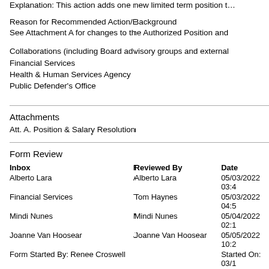Explanation: This action adds one new limited term position t…
Reason for Recommended Action/Background
See Attachment A for changes to the Authorized Position and…
Collaborations (including Board advisory groups and external…)
Financial Services
Health & Human Services Agency
Public Defender's Office
Attachments
Att. A. Position & Salary Resolution
Form Review
| Inbox | Reviewed By | Date |
| --- | --- | --- |
| Alberto Lara | Alberto Lara | 05/03/2022 03:4… |
| Financial Services | Tom Haynes | 05/03/2022 04:5… |
| Mindi Nunes | Mindi Nunes | 05/04/2022 02:1… |
| Joanne Van Hoosear | Joanne Van Hoosear | 05/05/2022 10:2… |
Form Started By: Renee Croswell    Started On: 03/1…
Final Approval Date: 05/05/2022